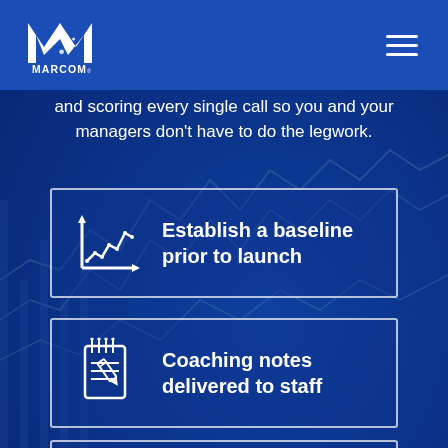MARCOM logo and navigation menu
and scoring every single call so you and your managers don't have to do the legwork.
Establish a baseline prior to launch
Coaching notes delivered to staff